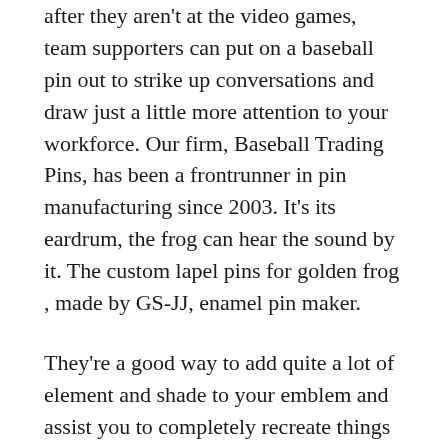after they aren't at the video games, team supporters can put on a baseball pin out to strike up conversations and draw just a little more attention to your workforce. Our firm, Baseball Trading Pins, has been a frontrunner in pin manufacturing since 2003. It's its eardrum, the frog can hear the sound by it. The custom lapel pins for golden frog , made by GS-JJ, enamel pin maker.
They're a good way to add quite a lot of element and shade to your emblem and assist you to completely recreate things like a brand, emblem, or insignia. Custom Dublin Harley Davidson Baseball Cap with Irish Blood American Heart logo embroiderd on. Our caps are available in 19 colours so we're positive you'll find the proper one. We additionally sell snapback caps , good for adjusting hat size without shedding the